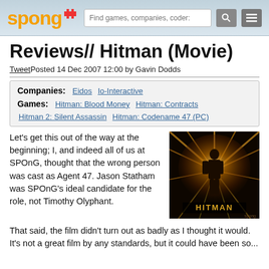SPOnG - Find games, companies, coders...
Reviews// Hitman (Movie)
Tweet Posted 14 Dec 2007 12:00 by Gavin Dodds
| Companies: | Games: |
| --- | --- |
| Eidos, Io-Interactive | Hitman: Blood Money, Hitman: Contracts, Hitman 2: Silent Assassin, Hitman: Codename 47 (PC) |
Let's get this out of the way at the beginning; I, and indeed all of us at SPOnG, thought that the wrong person was cast as Agent 47. Jason Statham was SPOnG's ideal candidate for the role, not Timothy Olyphant.
[Figure (photo): Hitman movie poster showing a silhouetted figure with golden light radiating behind them, text HITMAN at the bottom]
That said, the film didn't turn out as badly as I thought it would. It's not a great film by any standards, but it could have been so...